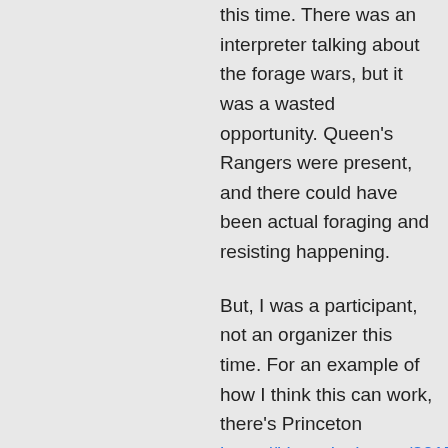this time. There was an interpreter talking about the forage wars, but it was a wasted opportunity. Queen's Rangers were present, and there could have been actual foraging and resisting happening.
But, I was a participant, not an organizer this time. For an example of how I think this can work, there's Princeton https://kittycalash.com/2017/01/10/occupy-princeton/ and any of the What Cheer Day entries.
↳ Reply
cmadeleine0816 on April 2, 2018 at